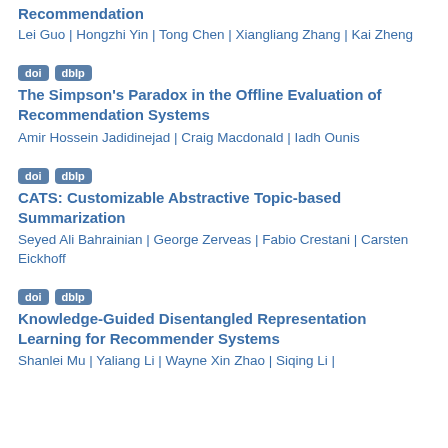Recommendation
Lei Guo | Hongzhi Yin | Tong Chen | Xiangliang Zhang | Kai Zheng
doi  dblp
The Simpson's Paradox in the Offline Evaluation of Recommendation Systems
Amir Hossein Jadidinejad | Craig Macdonald | Iadh Ounis
doi  dblp
CATS: Customizable Abstractive Topic-based Summarization
Seyed Ali Bahrainian | George Zerveas | Fabio Crestani | Carsten Eickhoff
doi  dblp
Knowledge-Guided Disentangled Representation Learning for Recommender Systems
Shanlei Mu | Yaliang Li | Wayne Xin Zhao | Siqing Li |